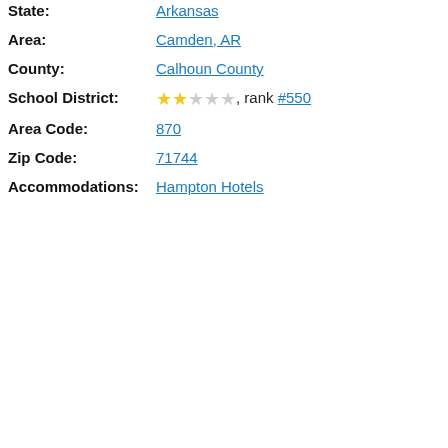State: Arkansas
Area: Camden, AR
County: Calhoun County
School District: ★★☆☆☆, rank #550
Area Code: 870
Zip Code: 71744
Accommodations: Hampton Hotels